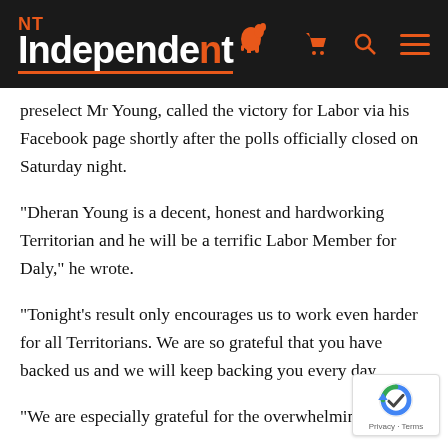NT Independent
preselect Mr Young, called the victory for Labor via his Facebook page shortly after the polls officially closed on Saturday night.
“Dheran Young is a decent, honest and hardworking Territorian and he will be a terrific Labor Member for Daly,” he wrote.
“Tonight’s result only encourages us to work even harder for all Territorians. We are so grateful that you have backed us and we will keep backing you every day.
“We are especially grateful for the overwhelming